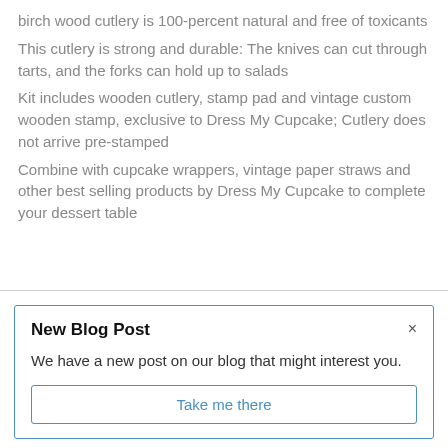birch wood cutlery is 100-percent natural and free of toxicants
This cutlery is strong and durable: The knives can cut through tarts, and the forks can hold up to salads
Kit includes wooden cutlery, stamp pad and vintage custom wooden stamp, exclusive to Dress My Cupcake; Cutlery does not arrive pre-stamped
Combine with cupcake wrappers, vintage paper straws and other best selling products by Dress My Cupcake to complete your dessert table
New Blog Post
We have a new post on our blog that might interest you.
Take me there